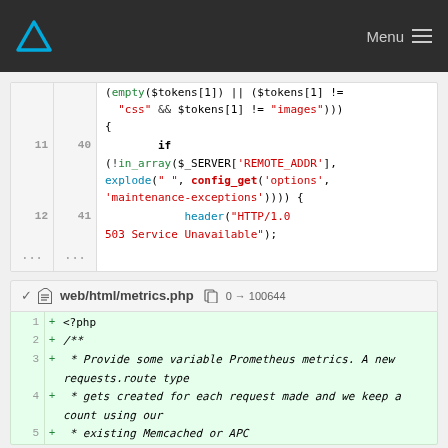Menu
[Figure (screenshot): Code diff view showing PHP code snippet with line numbers 11-12 (original 40-41), featuring empty(), in_array(), $_SERVER['REMOTE_ADDR'], explode(), config_get(), and header() function calls with maintenance exception logic]
web/html/metrics.php  0 → 100644
[Figure (screenshot): Added PHP file lines 1-5: <?php, /**, * Provide some variable Prometheus metrics. A new requests.route type, * gets created for each request made and we keep a count using our, * existing Memcached or APC]